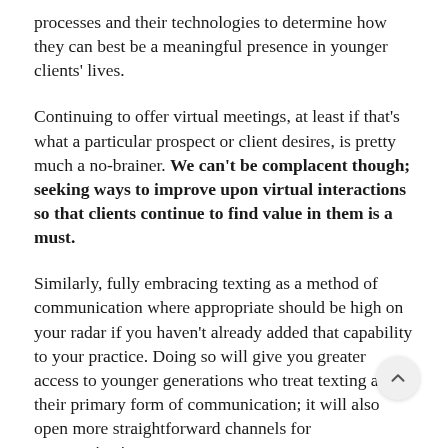processes and their technologies to determine how they can best be a meaningful presence in younger clients' lives.
Continuing to offer virtual meetings, at least if that's what a particular prospect or client desires, is pretty much a no-brainer. We can't be complacent though; seeking ways to improve upon virtual interactions so that clients continue to find value in them is a must.
Similarly, fully embracing texting as a method of communication where appropriate should be high on your radar if you haven't already added that capability to your practice. Doing so will give you greater access to younger generations who treat texting as their primary form of communication; it will also open more straightforward channels for communicating